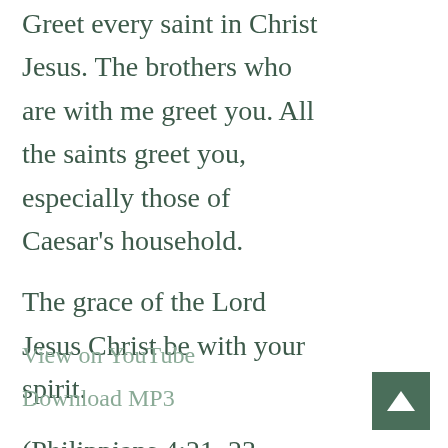Greet every saint in Christ Jesus. The brothers who are with me greet you. All the saints greet you, especially those of Caesar's household.
The grace of the Lord Jesus Christ be with your spirit.
(Philippians 4:21–23 ESV)
View on YouTube
Download MP3